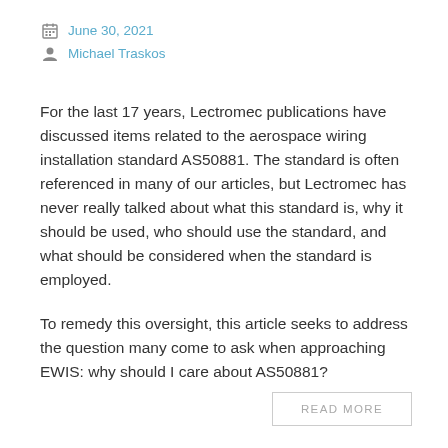June 30, 2021
Michael Traskos
For the last 17 years, Lectromec publications have discussed items related to the aerospace wiring installation standard AS50881. The standard is often referenced in many of our articles, but Lectromec has never really talked about what this standard is, why it should be used, who should use the standard, and what should be considered when the standard is employed.
To remedy this oversight, this article seeks to address the question many come to ask when approaching EWIS: why should I care about AS50881?